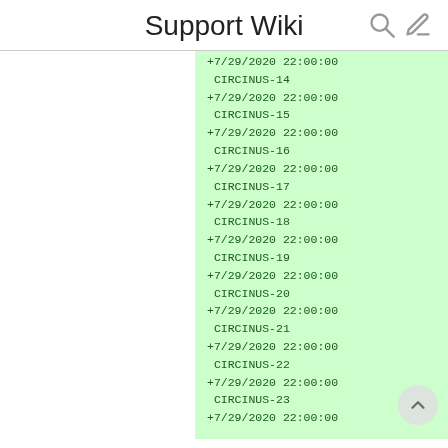Support Wiki
+7/29/2020 22:00:00
CIRCINUS-14
+7/29/2020 22:00:00
CIRCINUS-15
+7/29/2020 22:00:00
CIRCINUS-16
+7/29/2020 22:00:00
CIRCINUS-17
+7/29/2020 22:00:00
CIRCINUS-18
+7/29/2020 22:00:00
CIRCINUS-19
+7/29/2020 22:00:00
CIRCINUS-20
+7/29/2020 22:00:00
CIRCINUS-21
+7/29/2020 22:00:00
CIRCINUS-22
+7/29/2020 22:00:00
CIRCINUS-23
+7/29/2020 22:00:00